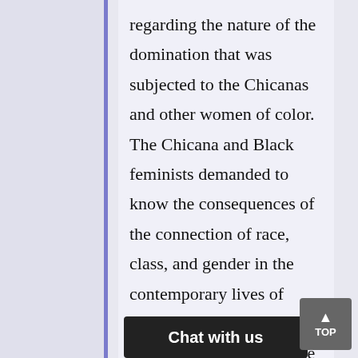regarding the nature of the domination that was subjected to the Chicanas and other women of color. The Chicana and Black feminists demanded to know the consequences of the connection of race, class, and gender in the contemporary lives of women in the American society. However, because of their struggle and labor-force involvement, several positive outcomes have been witnessed, for instance, wages enhanc...